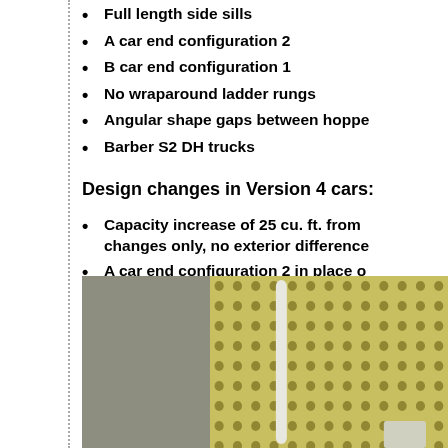Full length side sills
A car end configuration 2
B car end configuration 1
No wraparound ladder rungs
Angular shape gaps between hoppe…
Barber S2 DH trucks
Design changes in Version 4 cars:
Capacity increase of 25 cu. ft. from … changes only, no exterior difference…
A car end configuration 2 in place o…
Angular shape gaps between hoppe…
[Figure (photo): Close-up photo of a model railroad car showing a gray concrete-textured surface on the left and a yellow perforated metal panel on the right with a white vertical grab bar in the middle.]